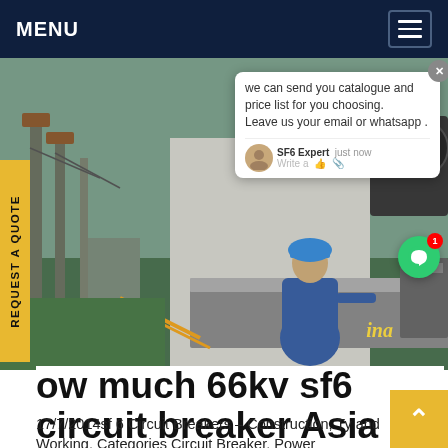MENU
[Figure (photo): A worker in blue coveralls and blue hard hat working near electrical substation equipment, loading or inspecting equipment from a truck]
we can send you catalogue and price list for you choosing. Leave us your email or whatsapp .
SF6 Expert   just now
Write a
REQUEST A QUOTE
ow much 66kv sf6 circuit breaker Asia
17/7/2014sf 6 Circuit Breakers – Construction, Ty and Working. Categories Circuit Breaker, Power